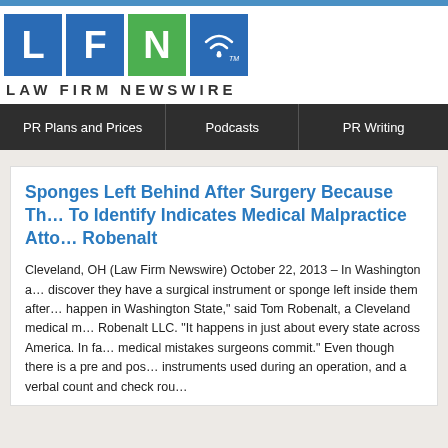[Figure (logo): Law Firm Newswire logo with colored letter blocks L, F, N and wifi symbol, followed by text 'LAW FIRM NEWSWIRE']
PR Plans and Prices | Podcasts | PR Writing
Sponges Left Behind After Surgery Because They Are Difficult To Identify Indicates Medical Malpractice Attorney Tom Robenalt
Cleveland, OH (Law Firm Newswire) October 22, 2013 – In Washington a... discover they have a surgical instrument or sponge left inside them after... happen in Washington State," said Tom Robenalt, a Cleveland medical m... Robenalt LLC. "It happens in just about every state across America. In fa... medical mistakes surgeons commit." Even though there is a pre and pos... instruments used during an operation, and a verbal count and check rou...